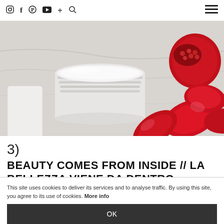Instagram Facebook Pinterest YouTube + Search | Menu
[Figure (photo): Close-up photo of an open jar of white powder cosmetic product with red pomegranate seeds and petals scattered around it on a marble surface]
3)
BEAUTY COMES FROM INSIDE // LA BELLEZZA VIENE DA DENTRO
This site uses cookies to deliver its services and to analyse traffic. By using this site, you agree to its use of cookies. More info
OK